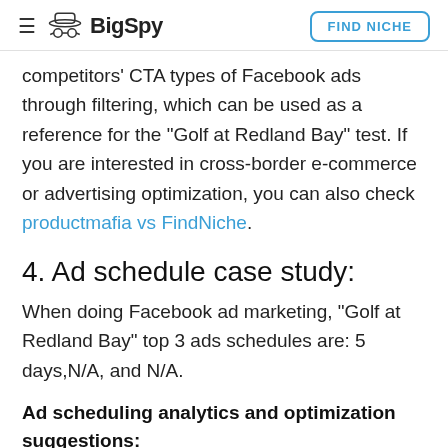BigSpy | FIND NICHE
competitors' CTA types of Facebook ads through filtering, which can be used as a reference for the "Golf at Redland Bay" test. If you are interested in cross-border e-commerce or advertising optimization, you can also check productmafia vs FindNiche.
4. Ad schedule case study:
When doing Facebook ad marketing, "Golf at Redland Bay" top 3 ads schedules are: 5 days,N/A, and N/A.
Ad scheduling analytics and optimization suggestions:
Your ads are not valuable 24 hours a day, 7 days a